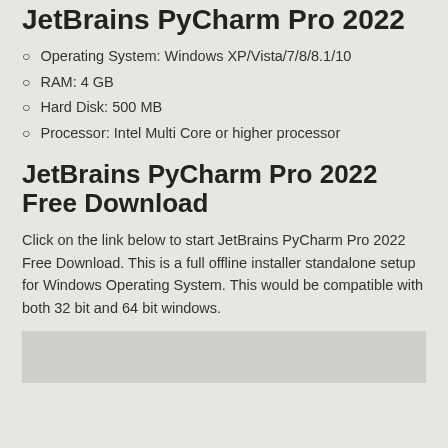JetBrains PyCharm Pro 2022
Operating System: Windows XP/Vista/7/8/8.1/10
RAM: 4 GB
Hard Disk: 500 MB
Processor: Intel Multi Core or higher processor
JetBrains PyCharm Pro 2022 Free Download
Click on the link below to start JetBrains PyCharm Pro 2022 Free Download. This is a full offline installer standalone setup for Windows Operating System. This would be compatible with both 32 bit and 64 bit windows.
[Figure (screenshot): Screenshot or image placeholder at bottom of page]